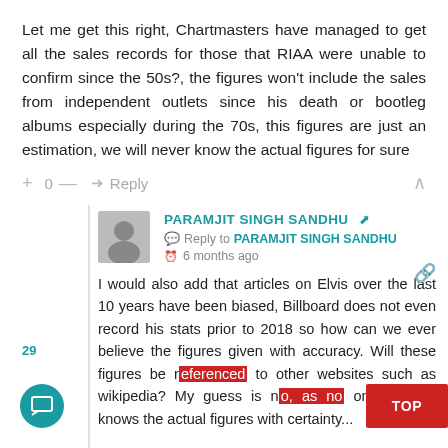Let me get this right, Chartmasters have managed to get all the sales records for those that RIAA were unable to confirm since the 50s?, the figures won't include the sales from independent outlets since his death or bootleg albums especially during the 70s, this figures are just an estimation, we will never know the actual figures for sure
+ 0 — ➜ Reply
PARAMJIT SINGH SANDHU
Reply to PARAMJIT SINGH SANDHU
6 months ago
I would also add that articles on Elvis over the last 10 years have been biased, Billboard does not even record his stats prior to 2018 so how can we ever believe the figures given with accuracy. Will these figures be referenced to other websites such as wikipedia? My guess is no, as no one actually knows the actual figures with certainty...